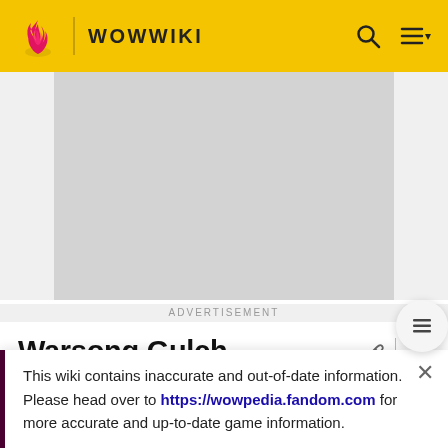WOWWIKI
[Figure (screenshot): Advertisement placeholder gray block]
ADVERTISEMENT
Warsong Gulch
Warsong Gulch, or WSG, is the first Battleground that leveling characters can access. The game flow is the classic capture the flag model which grew up in real...
This wiki contains inaccurate and out-of-date information. Please head over to https://wowpedia.fandom.com for more accurate and up-to-date game information.